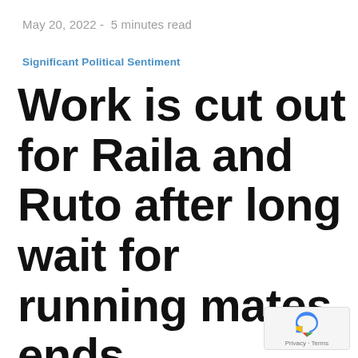May 20, 2022 -  5 minutes read
Significant Political Sentiment
Work is cut out for Raila and Ruto after long wait for running mates ends